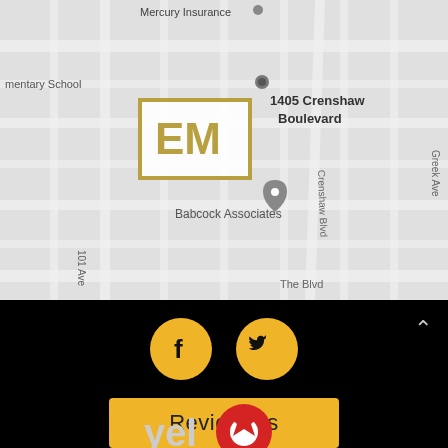[Figure (map): Google Maps screenshot showing 1405 Crenshaw Boulevard area with an EM logo marker, street grid, Mercury Insurance, Babcock Associates labels visible]
[Figure (infographic): Black footer bar with two gold circular social media icons (Facebook 'f' and Twitter bird), a gold 'Review Us' button, and the top of a Yelp logo]